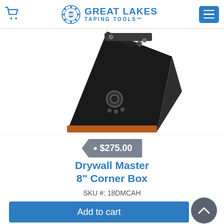Great Lakes Taping Tools
[Figure (photo): Drywall Master 8-inch Corner Box tool, black metal wedge-shaped applicator with copper/orange bottom edge and adjustment knob on the front face]
• $275.00
Drywall Master 8" Corner Box
SKU #: 18DMCAH
Add to cart
More Info